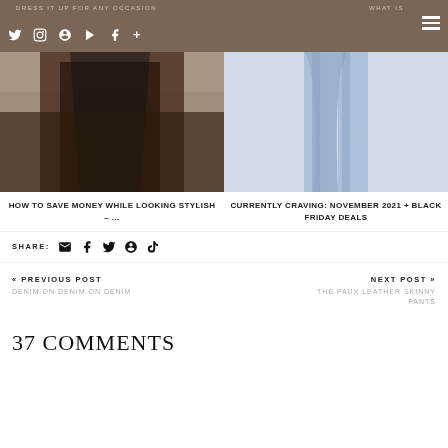DRESS IT UP FOR ANY OCCASION | WHAT IS
[Figure (photo): Woman wearing black leather jacket and dark patterned blouse against brick wall background]
[Figure (photo): Light blue flared/bootcut jeans on plain background]
HOW TO SAVE MONEY WHILE LOOKING STYLISH – ...
CURRENTLY CRAVING: NOVEMBER 2021 + BLACK FRIDAY DEALS
SHARE:
« PREVIOUS POST
DENIM ON DENIM ON DENIM
NEXT POST »
THE FAUX LEATHER SKINNY PANTS
37 COMMENTS